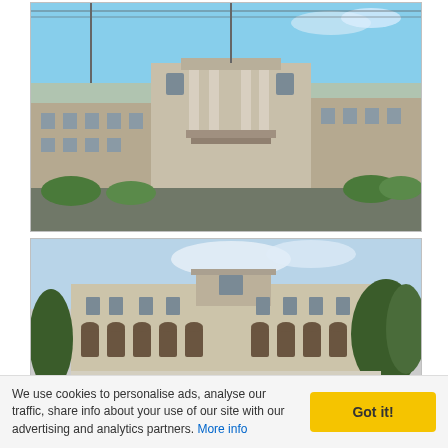[Figure (photo): Photograph of an old deteriorated building with columns and a balcony, with brick wings on each side and vegetation in front]
[Figure (photo): Photograph of a large classical-style two-story building with arched windows and dormers, surrounded by dry grass and trees]
[Figure (photo): Photograph of a railway station with platforms, tracks, and a modern glass building in the background, trees visible]
We use cookies to personalise ads, analyse our traffic, share info about your use of our site with our advertising and analytics partners. More info